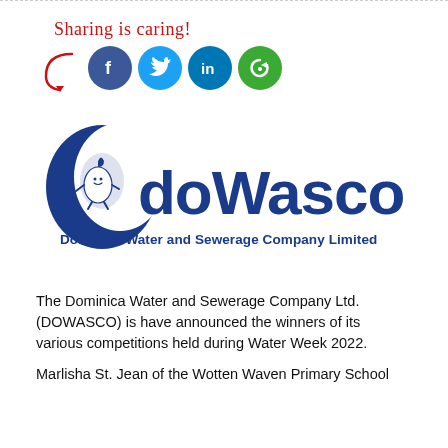[Figure (infographic): Sharing is caring! label with red arrow and four social media icons: Facebook (dark blue), Twitter (light blue), LinkedIn (blue), and a green share/refresh icon]
[Figure (logo): DOWASCO logo - Dominica Water and Sewerage Company Limited. Shows a cartoon water drop character inside a crescent moon shape, with large stylized blue text 'doWasco' and subtitle 'Dominica Water and Sewerage Company Limited']
The Dominica Water and Sewerage Company Ltd. (DOWASCO) is have announced the winners of its various competitions held during Water Week 2022.
Marlisha St. Jean of the Wotten Waven Primary School